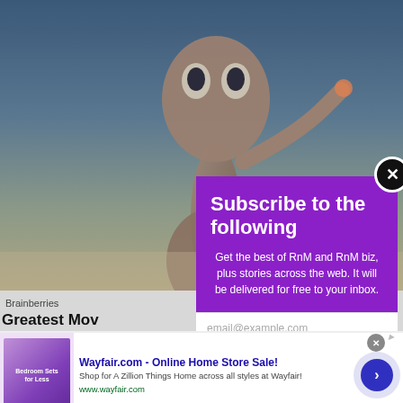[Figure (screenshot): Screenshot of a webpage showing an ET movie still in the background, with a purple newsletter subscription modal overlay, showing 'Subscribe to the following' heading, body text about RnM newsletter, email input field, and Subscribe button. Below is a Wayfair.com advertisement banner.]
Brainberries
Greatest Mov
Subscribe to the following
Get the best of RnM and RnM biz, plus stories across the web. It will be delivered for free to your inbox.
email@example.com
SUBSCRIBE
Games
infolinks
Wayfair.com - Online Home Store Sale!
Shop for A Zillion Things Home across all styles at Wayfair!
www.wayfair.com